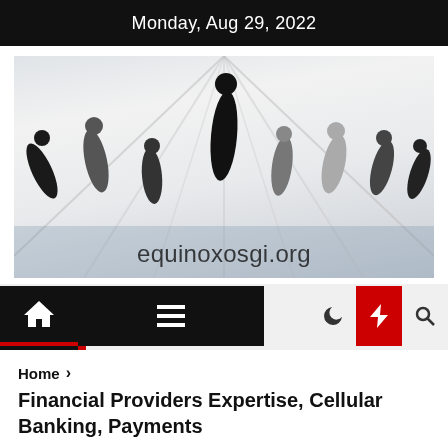Monday, Aug 29, 2022
[Figure (photo): Group of people jumping in athletic wear in a white architectural space, with text overlay reading equinoxosgi.org]
[Figure (screenshot): Website navigation bar with home icon, hamburger menu, dark mode moon icon, red lightning bolt button, and search icon]
Home > Financial Providers Expertise, Cellular Banking, Payments